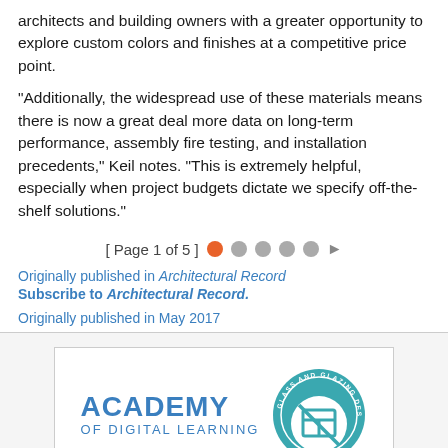architects and building owners with a greater opportunity to explore custom colors and finishes at a competitive price point.
“Additionally, the widespread use of these materials means there is now a great deal more data on long-term performance, assembly fire testing, and installation precedents,” Keil notes. “This is extremely helpful, especially when project budgets dictate we specify off-the-shelf solutions.”
[ Page 1 of 5 ] ▶
Originally published in Architectural Record
Subscribe to Architectural Record.
Originally published in May 2017
[Figure (logo): Academy of Digital Learning logo with Glass and Glazing Design Academy circular badge]